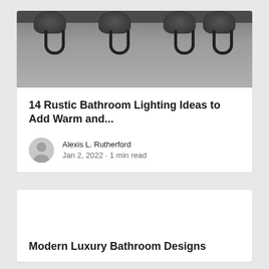[Figure (photo): Close-up photo of rustic dark metal bathroom light fixture with multiple lamp holders and curved hooks, against a gray wall]
14 Rustic Bathroom Lighting Ideas to Add Warm and...
Alexis L. Rutherford
Jan 2, 2022 · 1 min read
[Figure (photo): Blank/white image placeholder for second article card]
Modern Luxury Bathroom Designs